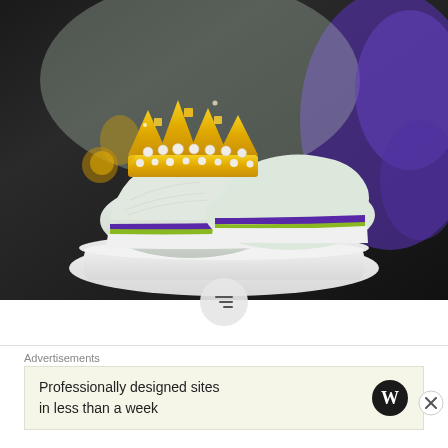[Figure (photo): Close-up photo of white Nike sneakers (LeBron style) wearing a gold and pearl jeweled crown, displayed on a white ornate platform. Purple and green accents visible on the sneakers. Dark background.]
Fashion | Visiting Sneakertopia LA
Fashion | The Afro Latina fashionista visits Sneakertopia in Los Angeles and literally falls head over heels with art
Advertisements
Professionally designed sites in less than a week